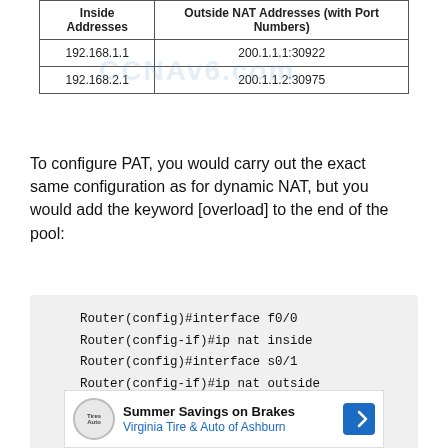| Inside Addresses | Outside NAT Addresses (with Port Numbers) |
| --- | --- |
| 192.168.1.1 | 200.1.1.1:30922 |
| 192.168.2.1 | 200.1.1.2:30975 |
To configure PAT, you would carry out the exact same configuration as for dynamic NAT, but you would add the keyword [overload] to the end of the pool:
Router(config)#interface f0/0
Router(config-if)#ip nat inside
Router(config)#interface s0/1
Router(config-if)#ip nat outside
Router(config)#ip nat pool poolname
Router(config)#ip nat inside source
Router(config)#access-list 1 permit
[Figure (infographic): Advertisement banner: Summer Savings on Brakes - Virginia Tire & Auto of Ashburn]